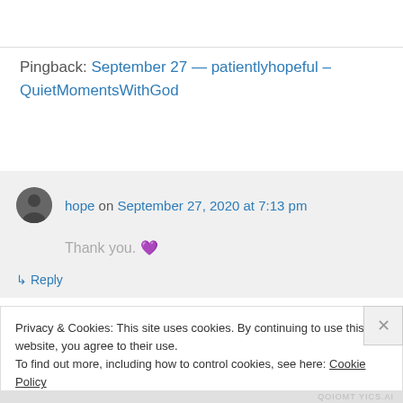Pingback: September 27 — patientlyhopeful – QuietMomentsWithGod
hope on September 27, 2020 at 7:13 pm
Thank you. 💜
↳ Reply
Privacy & Cookies: This site uses cookies. By continuing to use this website, you agree to their use.
To find out more, including how to control cookies, see here: Cookie Policy
Close and accept